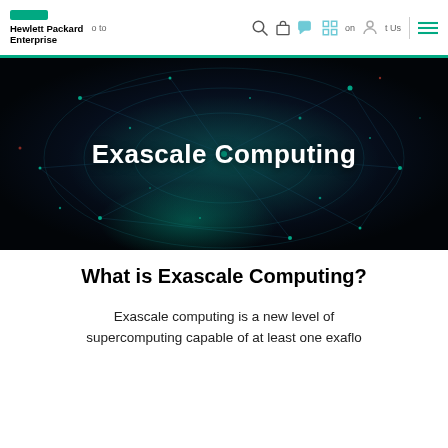Hewlett Packard Enterprise | Skip to | Contact Us
[Figure (illustration): Dark blue abstract digital network visualization with teal/blue glowing particles and connection lines on dark background, serving as hero banner for Exascale Computing page]
Exascale Computing
What is Exascale Computing?
Exascale computing is a new level of supercomputing capable of at least one exaflo